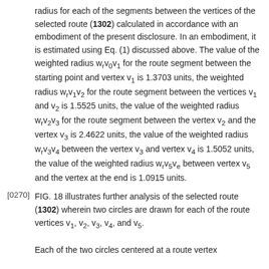radius for each of the segments between the vertices of the selected route (1302) calculated in accordance with an embodiment of the present disclosure. In an embodiment, it is estimated using Eq. (1) discussed above. The value of the weighted radius w_r v_0 v_1 for the route segment between the starting point and vertex v_1 is 1.3703 units, the weighted radius w_r v_1 v_2 for the route segment between the vertices v_1 and v_2 is 1.5525 units, the value of the weighted radius w_r v_2 v_3 for the route segment between the vertex v_2 and the vertex v_3 is 2.4622 units, the value of the weighted radius w_r v_3 v_4 between the vertex v_3 and vertex v_4 is 1.5052 units, the value of the weighted radius w_r v_5 v_e between vertex v_5 and the vertex at the end is 1.0915 units.
[0270] FIG. 18 illustrates further analysis of the selected route (1302) wherein two circles are drawn for each of the route vertices v_1, v_2, v_3, v_4, and v_5. Each of the two circles centered at a route vertex